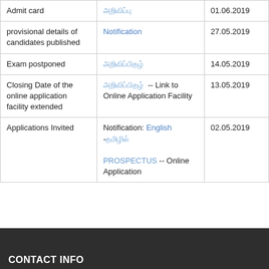| Event | Links | Date |
| --- | --- | --- |
| Admit card | அறிவிப்பு | 01.06.2019 |
| provisional details of candidates published | Notification | 27.05.2019 |
| Exam postponed | அறிவிப்பிதழ் | 14.05.2019 |
| Closing Date of the online application facility extended | அறிவிப்பிதழ்  -- Link to Online Application Facility | 13.05.2019 |
| Applications Invited | Notification: English -தமிழில்

PROSPECTUS -- Online Application | 02.05.2019 |
CONTACT INFO